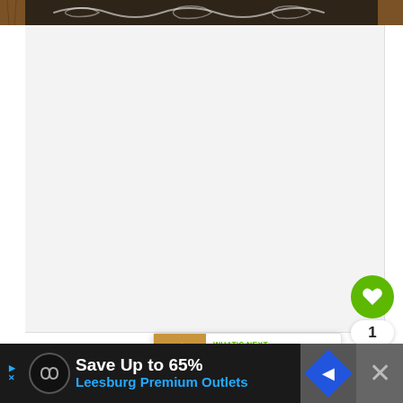[Figure (photo): Top portion of a dark chalkboard with chalk lettering/swirl design, cropped at top of page]
[Figure (illustration): Large white/light gray empty content area (recipe video or image embed placeholder)]
[Figure (infographic): Green circular heart/favorite button with count of 1, and a share button below it]
[Figure (infographic): What's Next card with thumbnail of Caramel Macchiato drink and text 'WHAT'S NEXT → Caramel Macchiato...']
[Figure (infographic): Advertisement banner: 'Save Up to 65% Leesburg Premium Outlets' on dark background with blue navigation icon and close X button]